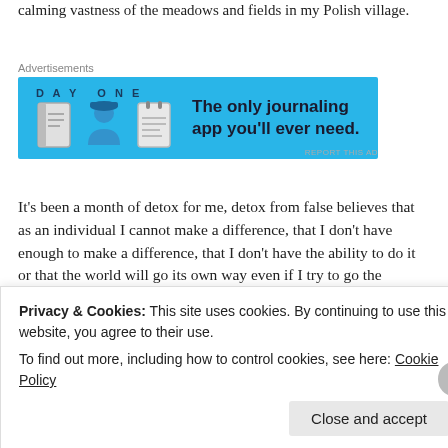calming vastness of the meadows and fields in my Polish village.
[Figure (screenshot): Day One journaling app advertisement banner with blue background showing app icons and text 'The only journaling app you'll ever need.']
It’s been a month of detox for me, detox from false believes that as an individual I cannot make a difference, that I don’t have enough to make a difference, that I don’t have the ability to do it or that the world will go its own way even if I try to go the opposite direction. The world is not a hostile place that mysteriously turns its back on us just because we try, the world responds to our attempts, watches them carefully. It just needs time to be persuaded. The difficulty with doing what you
Privacy & Cookies: This site uses cookies. By continuing to use this website, you agree to their use.
To find out more, including how to control cookies, see here: Cookie Policy